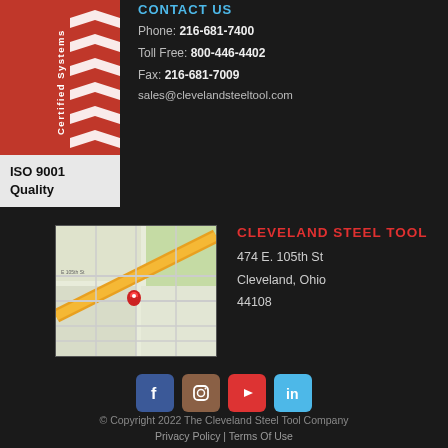[Figure (logo): ISO 9001 Quality certified systems badge with red background, white chevron checkmarks, and white/grey ISO 9001 Quality text box]
CONTACT US
Phone: 216-681-7400
Toll Free: 800-446-4402
Fax: 216-681-7009
sales@clevelandsteeltool.com
[Figure (map): Google Maps screenshot showing location at 474 E. 105th St, Cleveland, Ohio 44108 with orange road and red map pin marker]
CLEVELAND STEEL TOOL
474 E. 105th St
Cleveland, Ohio
44108
[Figure (infographic): Social media icons row: Facebook (blue), Instagram (brown), YouTube (red), LinkedIn (light blue)]
© Copyright 2022 The Cleveland Steel Tool Company
Privacy Policy | Terms Of Use